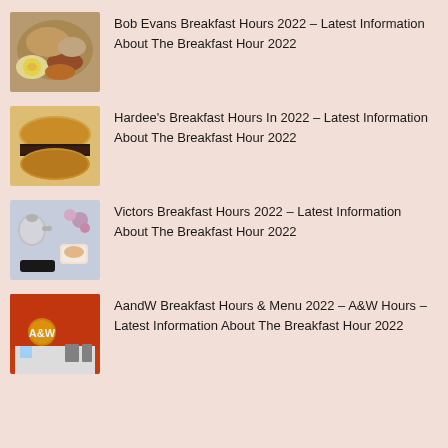Bob Evans Breakfast Hours 2022 – Latest Information About The Breakfast Hour 2022
Hardee's Breakfast Hours In 2022 – Latest Information About The Breakfast Hour 2022
Victors Breakfast Hours 2022 – Latest Information About The Breakfast Hour 2022
AandW Breakfast Hours & Menu 2022 – A&W Hours – Latest Information About The Breakfast Hour 2022